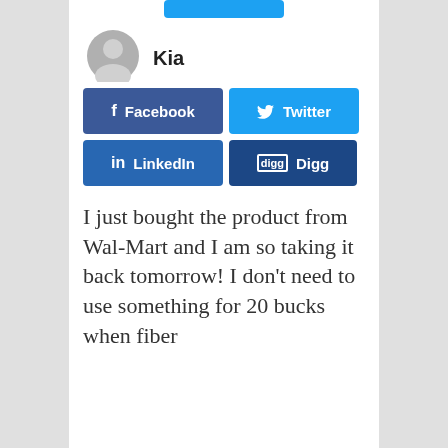[Figure (other): Partial blue button at top of page]
Kia
[Figure (other): Social share buttons: Facebook, Twitter, LinkedIn, Digg]
I just bought the product from Wal-Mart and I am so taking it back tomorrow! I don't need to use something for 20 bucks when fiber